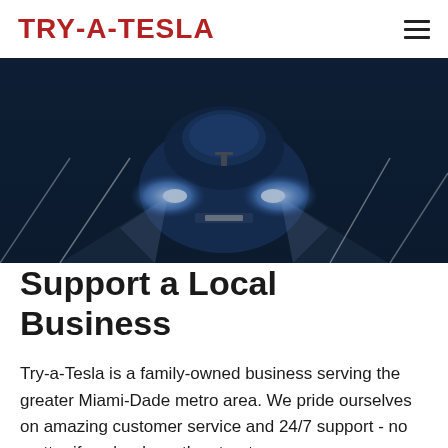TRY-A-TESLA
[Figure (photo): Front view of a dark blue Tesla electric car parked in a parking lot at night/dusk, with headlights illuminated, shot from above and in front]
Support a Local Business
Try-a-Tesla is a family-owned business serving the greater Miami-Dade metro area. We pride ourselves on amazing customer service and 24/7 support - no matter if you're down the street or